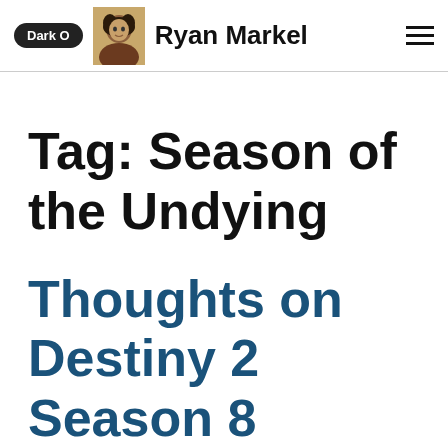Dark O  Ryan Markel
Tag: Season of the Undying
Thoughts on Destiny 2 Season 8